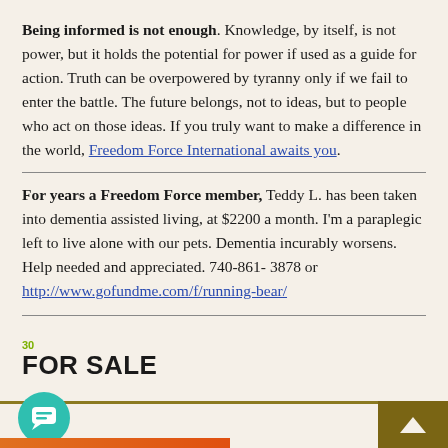Being informed is not enough. Knowledge, by itself, is not power, but it holds the potential for power if used as a guide for action. Truth can be overpowered by tyranny only if we fail to enter the battle. The future belongs, not to ideas, but to people who act on those ideas. If you truly want to make a difference in the world, Freedom Force International awaits you.
For years a Freedom Force member, Teddy L. has been taken into dementia assisted living, at $2200 a month. I'm a paraplegic left to live alone with our pets. Dementia incurably worsens. Help needed and appreciated. 740-861-3878 or http://www.gofundme.com/f/running-bear/
FOR SALE